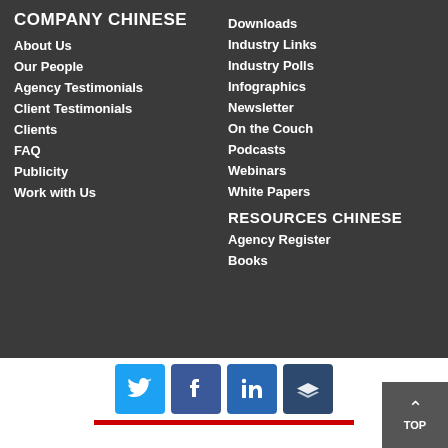COMPANY CHINESE
About Us
Our People
Agency Testimonials
Client Testimonials
Clients
FAQ
Publicity
Work with Us
Downloads
Industry Links
Industry Polls
Infographics
Newsletter
On the Couch
Podcasts
Webinars
White Papers
RESOURCES CHINESE
Agency Register
Books
[Figure (other): Social media share buttons: Twitter, Facebook, LinkedIn, Buffer. Red underline bar below buttons.]